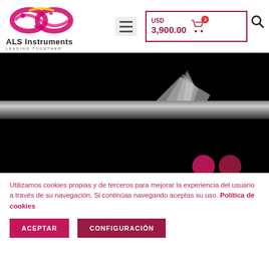[Figure (logo): ALS Instruments logo — infinity-like swirl in pink/yellow/purple above text 'ALS Instruments / LEADING TOGETHER']
[Figure (infographic): Shopping cart icon with badge showing '1', and search magnifying glass icon]
USD 3,900.00
[Figure (photo): Black and white photograph: a hand touching or lifting a flat surface (paper or glass), showing texture contrast. Bottom right shows two overlapping pink/crimson circles (carousel navigation dots).]
Utilizamos cookies propias y de terceros para mejorar la experiencia del usuario a través de su navegación. Si continúas navegando aceptas su uso. Política de cookies
ACEPTAR
CONFIGURACIÓN